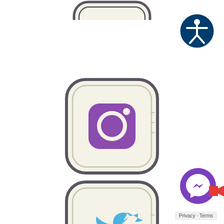[Figure (illustration): Partial social media app icon (rounded rectangle, beige/cream background with dark grey border) visible at top center, cropped]
[Figure (logo): Accessibility icon: blue circle with white stick figure person inside, top right corner]
[Figure (illustration): Instagram app icon: rounded square button with beige/cream background, dark grey border, purple Instagram camera logo in center]
[Figure (illustration): Twitter app icon: rounded square button with beige/cream background, dark grey border, blue Twitter bird logo in center]
[Figure (logo): Facebook Messenger chat widget: purple circle with white lightning bolt/messenger logo, bottom right corner]
Privacy · Terms